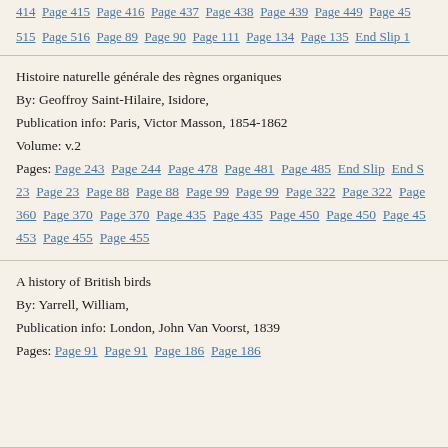414  Page 415  Page 416  Page 437  Page 438  Page 439  Page 449  Page 45... 515  Page 516  Page 89  Page 90  Page 111  Page 134  Page 135  End Slip 1
Histoire naturelle générale des règnes organiques
By: Geoffroy Saint-Hilaire, Isidore,
Publication info: Paris, Victor Masson, 1854-1862
Volume: v.2
Pages: Page 243  Page 244  Page 478  Page 481  Page 485  End Slip  End S... 23  Page 23  Page 88  Page 88  Page 99  Page 99  Page 322  Page 322  Page... 360  Page 370  Page 370  Page 435  Page 435  Page 450  Page 450  Page 45... 453  Page 455  Page 455
A history of British birds
By: Yarrell, William,
Publication info: London, John Van Voorst, 1839
Pages: Page 91  Page 91  Page 186  Page 186